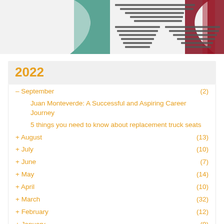[Figure (illustration): Partial logo/banner image at top: stylized graphic with teal/green shape on left, gray chevron-like horizontal lines in center, and dark red/maroon shape on right]
2022
– September (2)
Juan Monteverde: A Successful and Aspiring Career Journey
5 things you need to know about replacement truck seats
+ August (13)
+ July (10)
+ June (7)
+ May (14)
+ April (10)
+ March (32)
+ February (12)
+ January (9)